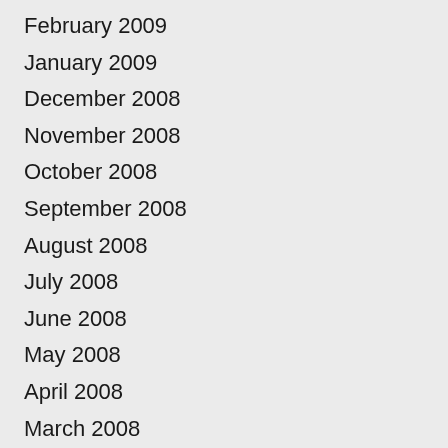February 2009
January 2009
December 2008
November 2008
October 2008
September 2008
August 2008
July 2008
June 2008
May 2008
April 2008
March 2008
February 2008
January 2008